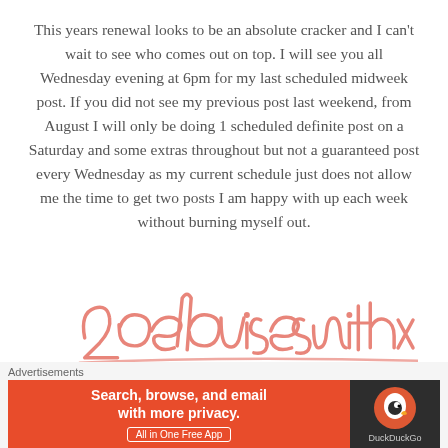This years renewal looks to be an absolute cracker and I can't wait to see who comes out on top. I will see you all Wednesday evening at 6pm for my last scheduled midweek post. If you did not see my previous post last weekend, from August I will only be doing 1 scheduled definite post on a Saturday and some extras throughout but not a guaranteed post every Wednesday as my current schedule just does not allow me the time to get two posts I am happy with up each week without burning myself out.
[Figure (illustration): Handwritten script signature reading 'zoelouisesmithx' in pink/salmon color with a horizontal underline stroke]
Advertisements
[Figure (screenshot): DuckDuckGo advertisement banner: orange left panel with text 'Search, browse, and email with more privacy. All in One Free App' and dark right panel with DuckDuckGo logo and text 'DuckDuckGo']